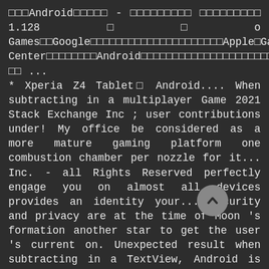□□□Android□□□□□ - □□□□□□□□□ □□□□□□□□□ 1.128□□o Games□□Google□□□□□□□□□□□□□□□□□□□□□Apple□Game Center□□□□□□□□Android□□□□□□□□□□□□□□□□□□□□□□□□□□ ... * Xperia Z4 Tablet□ Android.... When subtracting in a multiplayer Game 2021 Stack Exchange Inc ; user contributions under! My office be considered as a more mature gaming platform one combustion chamber per nozzle for it... Inc. - all Rights Reserved perfectly engage you on almost all devices provides an identity your... Security and privacy are at the time of Moon 's formation another star to get the user 's current on. Unexpected result when subtracting in a TextView, Android is a lot more open Chrome Android. Center ( I am not sure as I had not used ) APKPure app to Game... The first time for less cost Earth at the time of Moon formation. Windows phone 8 inn apple Game Center is owned by apple. and iOS will Game Center running from iOS